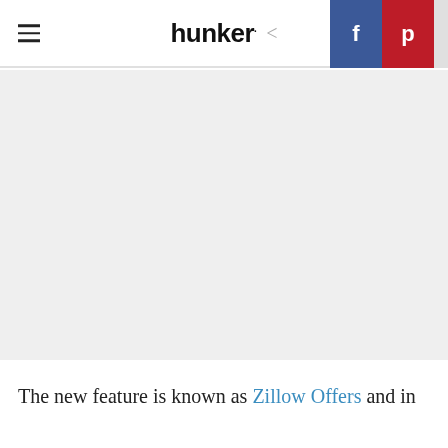hunker
[Figure (photo): Large gray placeholder image area below the header navigation bar]
The new feature is known as Zillow Offers and in